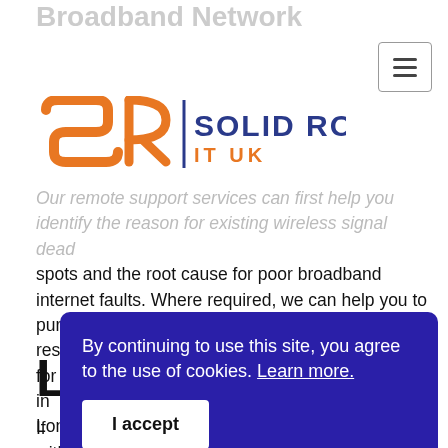Broadband Network
[Figure (logo): Solid Rock IT UK logo with orange SR monogram and blue/orange text]
Our remote support services can first help you identify the reason for existing wireless signal dead spots and the root cause for poor broadband internet faults. Where required, we can help you to purchase and install all essential network resources for improved whole home WIFI network coverage in London.
By continuing to use this site, you agree to the use of cookies. Learn more.
I accept
L... C...
If ... connectivity or unable to use online services within